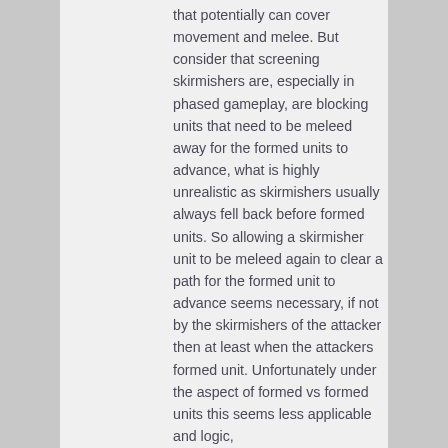that potentially can cover movement and melee. But consider that screening skirmishers are, especially in phased gameplay, are blocking units that need to be meleed away for the formed units to advance, what is highly unrealistic as skirmishers usually always fell back before formed units. So allowing a skirmisher unit to be meleed again to clear a path for the formed unit to advance seems necessary, if not by the skirmishers of the attacker then at least when the attackers formed unit. Unfortunately under the aspect of formed vs formed units this seems less applicable and logic,